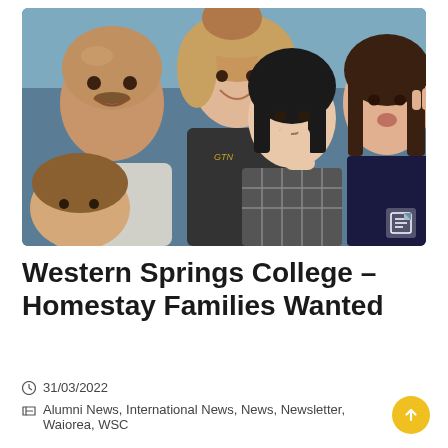[Figure (photo): Group selfie photo of five people: a bald man with mustache on the left, a woman smiling in the center-back, a young Asian girl making a peace sign in the center, a girl on the right making a funny face, and a young child visible at the bottom-left. Small document icon in the bottom-right corner of the image.]
Western Springs College – Homestay Families Wanted
31/03/2022
Alumni News, International News, News, Newsletter, Waiorea, WSC